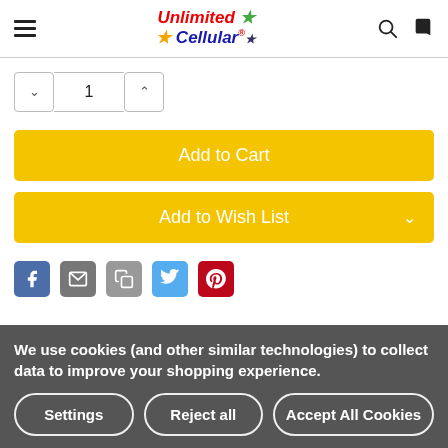Unlimited Cellular (logo with navigation)
Quantity selector: 1
Add to Cart
Add to Wish List
[Figure (screenshot): Social media sharing icons: Facebook, Email, Link/Copy, Twitter, Pinterest]
We use cookies (and other similar technologies) to collect data to improve your shopping experience.
Settings | Reject all | Accept All Cookies